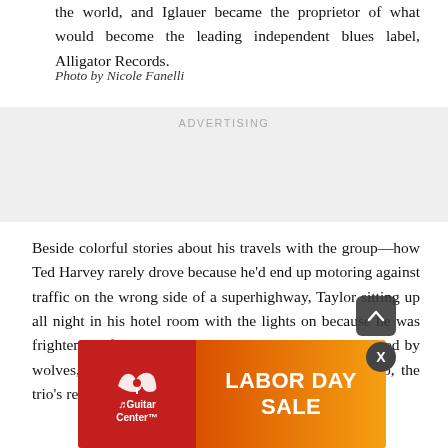the world, and Iglauer became the proprietor of what would become the leading independent blues label, Alligator Records.
Photo by Nicole Fanelli
[Figure (other): Advertising placeholder block with 'ADVERTISING' label]
Beside colorful stories about his travels with the group—how Ted Harvey rarely drove because he'd end up motoring against traffic on the wrong side of a superhighway, Taylor sitting up all night in his hotel room with the lights on because he was frightened of having a repeated dream about being chased by wolves, Taylor's epic slide-guitar battle with J.B. Hutto, the trio's relief finding ... resigni... gave Iglauer ... ed.
[Figure (other): Guitar Center Labor Day Sale banner advertisement]